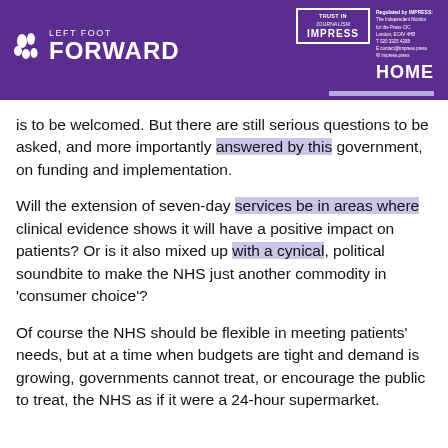LEFT FOOT FORWARD | TRUST IN JOURNALISM IMPRESS | HOME
is to be welcomed. But there are still serious questions to be asked, and more importantly answered by this government, on funding and implementation.
Will the extension of seven-day services be in areas where clinical evidence shows it will have a positive impact on patients? Or is it also mixed up with a cynical, political soundbite to make the NHS just another commodity in ‘consumer choice’?
Of course the NHS should be flexible in meeting patients’ needs, but at a time when budgets are tight and demand is growing, governments cannot treat, or encourage the public to treat, the NHS as if it were a 24-hour supermarket.